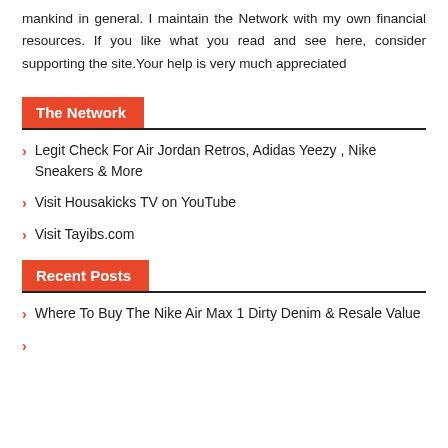mankind in general. I maintain the Network with my own financial resources. If you like what you read and see here, consider supporting the site.Your help is very much appreciated
The Network
Legit Check For Air Jordan Retros, Adidas Yeezy , Nike Sneakers & More
Visit Housakicks TV on YouTube
Visit Tayibs.com
Recent Posts
Where To Buy The Nike Air Max 1 Dirty Denim & Resale Value